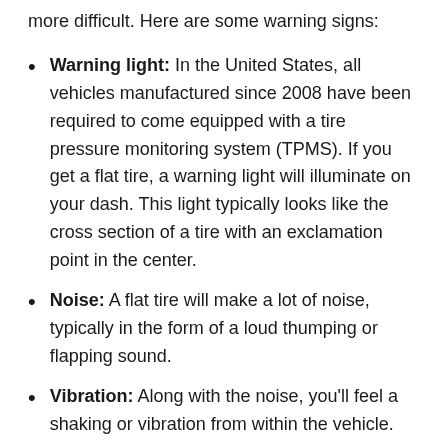more difficult. Here are some warning signs:
Warning light: In the United States, all vehicles manufactured since 2008 have been required to come equipped with a tire pressure monitoring system (TPMS). If you get a flat tire, a warning light will illuminate on your dash. This light typically looks like the cross section of a tire with an exclamation point in the center.
Noise: A flat tire will make a lot of noise, typically in the form of a loud thumping or flapping sound.
Vibration: Along with the noise, you'll feel a shaking or vibration from within the vehicle.
Steering: When your tire is flat, your vehicle will drift or pull toward the side with the bad tire. The change in steering will feel more pronounced if a